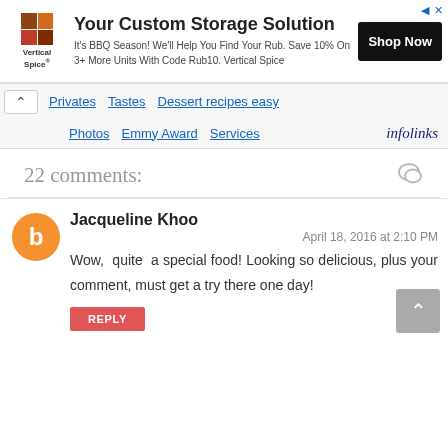[Figure (other): Advertisement banner for Vertical Spice custom storage solution with logo, text, and Shop Now button]
Privates   Tastes   Dessert recipes easy   Photos   Emmy Award   Services   infolinks
22 comments:
Jacqueline Khoo
April 18, 2016 at 2:10 PM
Wow, quite a special food! Looking so delicious, plus your comment, must get a try there one day!
REPLY